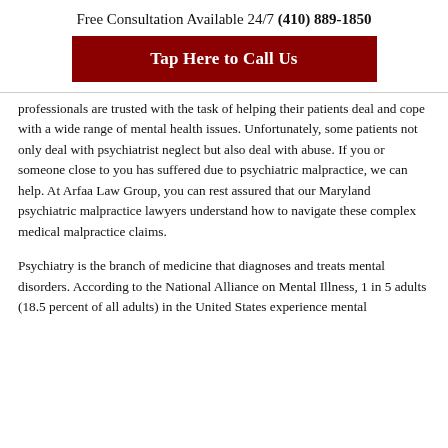Free Consultation Available 24/7 (410) 889-1850
Tap Here to Call Us
professionals are trusted with the task of helping their patients deal and cope with a wide range of mental health issues. Unfortunately, some patients not only deal with psychiatrist neglect but also deal with abuse. If you or someone close to you has suffered due to psychiatric malpractice, we can help. At Arfaa Law Group, you can rest assured that our Maryland psychiatric malpractice lawyers understand how to navigate these complex medical malpractice claims.
Psychiatry is the branch of medicine that diagnoses and treats mental disorders. According to the National Alliance on Mental Illness, 1 in 5 adults (18.5 percent of all adults) in the United States experience mental